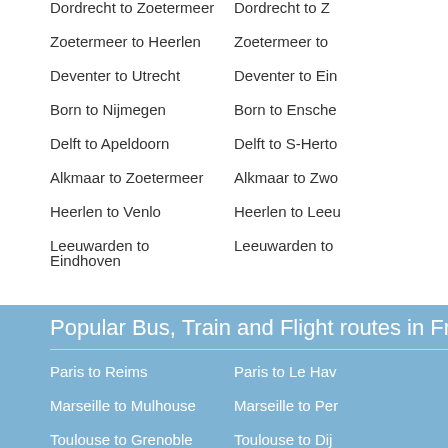Dordrecht to Zoetermeer
Zoetermeer to Heerlen
Deventer to Utrecht
Born to Nijmegen
Delft to Apeldoorn
Alkmaar to Zoetermeer
Heerlen to Venlo
Leeuwarden to Eindhoven
Dordrecht to Z…
Zoetermeer to…
Deventer to Ein…
Born to Ensche…
Delft to S-Herto…
Alkmaar to Zwo…
Heerlen to Leeu…
Leeuwarden to…
Popular Bus, Train and Flight routes in Franc…
Paris to Reims
Marseille to Mulhouse
Toulouse to Grenoble
Nantes to Paris
Strasbourg to Le Mans
Bordeaux to Strasbourg
Paris to Le Hav…
Marseille to Per…
Toulouse to Dij…
Nantes to Mars…
Strasbourg to A…
Bordeaux fr…